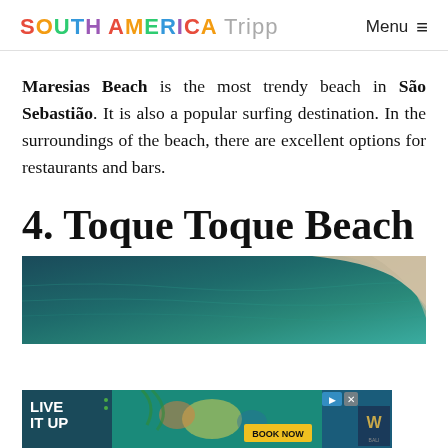SOUTH AMERICA Tripp | Menu
Maresias Beach is the most trendy beach in São Sebastião. It is also a popular surfing destination. In the surroundings of the beach, there are excellent options for restaurants and bars.
4. Toque Toque Beach
[Figure (photo): Aerial view of Toque Toque Beach showing dark teal ocean water and sandy shoreline from above]
[Figure (photo): Advertisement banner reading LIVE IT UP with tropical imagery and BOOK NOW button]